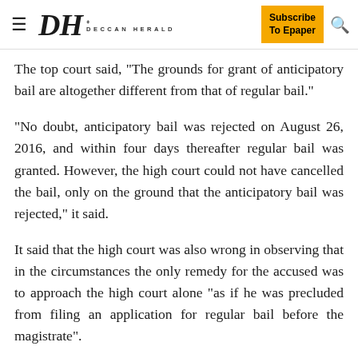DH DECCAN HERALD | Subscribe To Epaper
The top court said, "The grounds for grant of anticipatory bail are altogether different from that of regular bail."
"No doubt, anticipatory bail was rejected on August 26, 2016, and within four days thereafter regular bail was granted. However, the high court could not have cancelled the bail, only on the ground that the anticipatory bail was rejected," it said.
It said that the high court was also wrong in observing that in the circumstances the only remedy for the accused was to approach the high court alone "as if he was precluded from filing an application for regular bail before the magistrate".
Advocate D K Thakur, appearing for the Himachal Pradesh